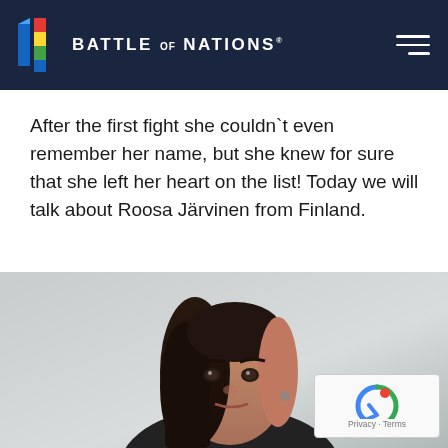Battle of Nations
After the first fight she couldn`t even remember her name, but she knew for sure that she left her heart on the list! Today we will talk about Roosa Järvinen from Finland.
[Figure (photo): Portrait photo of Roosa Järvinen, a young woman with dark hair shaved on one side, wearing dark clothing, looking upward slightly. Background shows a blurred sword or weapon.]